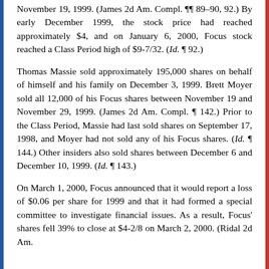November 19, 1999. (James 2d Am. Compl. ¶¶ 89–90, 92.) By early December 1999, the stock price had reached approximately $4, and on January 6, 2000, Focus stock reached a Class Period high of $9-7/32. (Id. ¶ 92.)
Thomas Massie sold approximately 195,000 shares on behalf of himself and his family on December 3, 1999. Brett Moyer sold all 12,000 of his Focus shares between November 19 and November 29, 1999. (James 2d Am. Compl. ¶ 142.) Prior to the Class Period, Massie had last sold shares on September 17, 1998, and Moyer had not sold any of his Focus shares. (Id. ¶ 144.) Other insiders also sold shares between December 6 and December 10, 1999. (Id. ¶ 143.)
On March 1, 2000, Focus announced that it would report a loss of $0.06 per share for 1999 and that it had formed a special committee to investigate financial issues. As a result, Focus' shares fell 39% to close at $4-2/8 on March 2, 2000. (Ridal 2d Am.